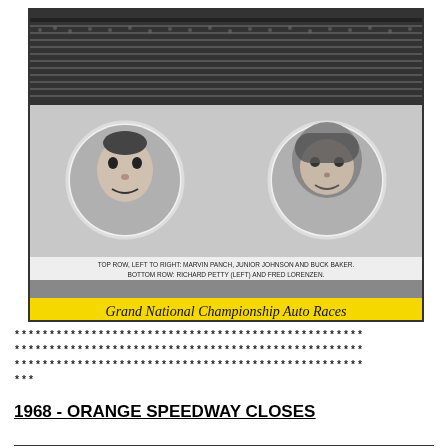[Figure (photo): Vintage NASCAR Grand National Championship Auto Races program cover. Top portion shows a black-and-white photograph of a racetrack with grandstands filled with spectators and race cars on the track. Below the track photo are two circular portrait photos: left portrait is a smiling driver (Richard Petty), right portrait is a driver wearing a racing helmet (Fred Lorenzen). Caption reads: TOP ROW, LEFT TO RIGHT: MARVIN PANCH, JUNIOR JOHNSON AND BUCK BAKER. BOTTOM ROW: RICHARD PETTY (LEFT) AND FRED LORENZEN. A yellow banner at the bottom reads: Grand National Championship Auto Races, No 71482, [NASCAR International logo], Price 50c.]
****************************************************
****************************************************
****************************************************
***
1968 - ORANGE SPEEDWAY CLOSES